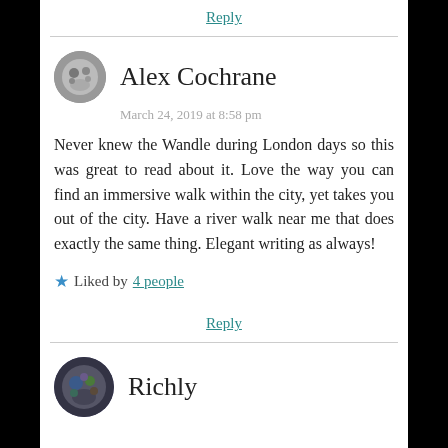Reply
Alex Cochrane
March 24, 2019 at 8:58 pm
Never knew the Wandle during London days so this was great to read about it. Love the way you can find an immersive walk within the city, yet takes you out of the city. Have a river walk near me that does exactly the same thing. Elegant writing as always!
Liked by 4 people
Reply
Richly